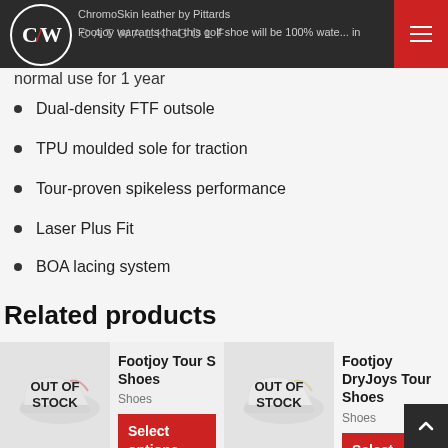Catwalk Golf
ChromoSkin leather by Pittards
Footjoy warrants that this golf shoe will be 100% waterproof in normal use for 1 year
Dual-density FTF outsole
TPU moulded sole for traction
Tour-proven spikeless performance
Laser Plus Fit
BOA lacing system
Related products
Footjoy Tour S Shoes - Shoes - Out of Stock
Footjoy DryJoys Tour Shoes - Shoes - Out of Stock